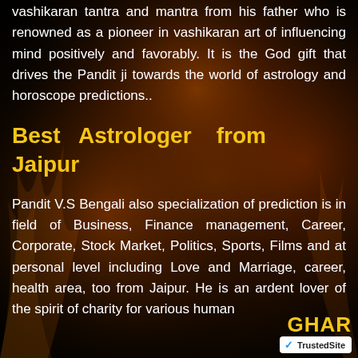vashikaran tantra and mantra from his father who is renowned as a pioneer in vashikaran art of influencing mind positively and favorably. It is the God gift that drives the Pandit ji towards the world of astrology and horoscope predictions..
Best Astrologer from Jaipur
Pandit V.S Bengali also specialization of prediction is in field of Business, Finance management, Career, Corporate, Stock Market, Politics, Sports, Films and at personal level including Love and Marriage, career, health area, too from Jaipur. He is an ardent lover of the spirit of charity for various human
[Figure (logo): TrustedSite badge with GHAR branding text in yellow and a TrustedSite checkmark badge in white]